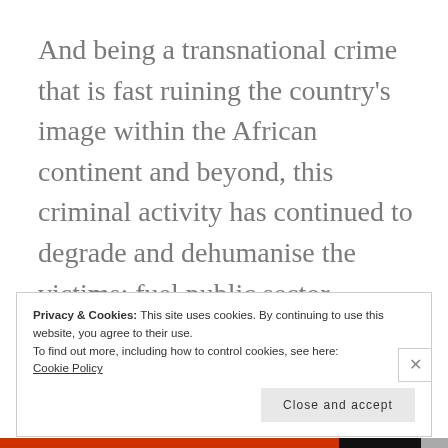And being a transnational crime that is fast ruining the country's image within the African continent and beyond, this criminal activity has continued to degrade and dehumanise the victims; fuel public sector corruption and irregular migration; aid the spread of COVID-19, HIV/AIDS, and other communicable diseases while also
Privacy & Cookies: This site uses cookies. By continuing to use this website, you agree to their use.
To find out more, including how to control cookies, see here:
Cookie Policy

Close and accept